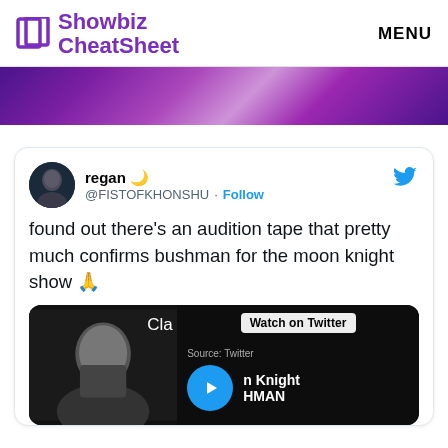Showbiz CheatSheet | MENU
[Figure (photo): Purple gradient banner image]
[Figure (screenshot): Embedded tweet from @FISTOFKHONSHU (regan) saying 'found out there’s an audition tape that pretty much confirms bushman for the moon knight show 🙏' with a video thumbnail showing Watch on Twitter overlay, Moon Knight / HMAN text, and a play button]